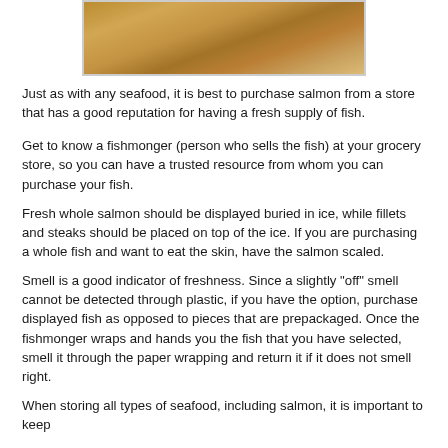[Figure (photo): Close-up photo of a piece of cooked or seasoned salmon fillet on a white plate, shown partially cropped at the top of the page]
Just as with any seafood, it is best to purchase salmon from a store that has a good reputation for having a fresh supply of fish.
Get to know a fishmonger (person who sells the fish) at your grocery store, so you can have a trusted resource from whom you can purchase your fish.
Fresh whole salmon should be displayed buried in ice, while fillets and steaks should be placed on top of the ice. If you are purchasing a whole fish and want to eat the skin, have the salmon scaled.
Smell is a good indicator of freshness. Since a slightly "off" smell cannot be detected through plastic, if you have the option, purchase displayed fish as opposed to pieces that are prepackaged. Once the fishmonger wraps and hands you the fish that you have selected, smell it through the paper wrapping and return it if it does not smell right.
When storing all types of seafood, including salmon, it is important to keep